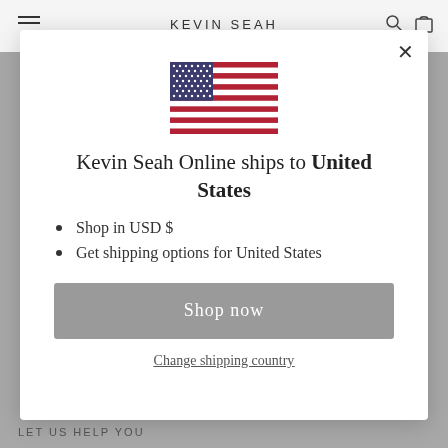KEVIN SEAH
[Figure (illustration): US flag SVG illustration]
Kevin Seah Online ships to United States
Shop in USD $
Get shipping options for United States
Shop now
Change shipping country
LET US HELP YOU